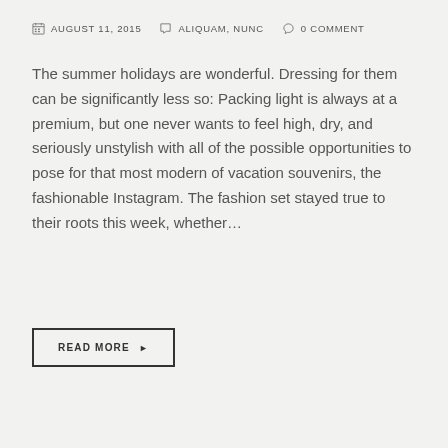AUGUST 11, 2015   ALIQUAM, NUNC   0 COMMENT
The summer holidays are wonderful. Dressing for them can be significantly less so: Packing light is always at a premium, but one never wants to feel high, dry, and seriously unstylish with all of the possible opportunities to pose for that most modern of vacation souvenirs, the fashionable Instagram. The fashion set stayed true to their roots this week, whether...
READ MORE ▶